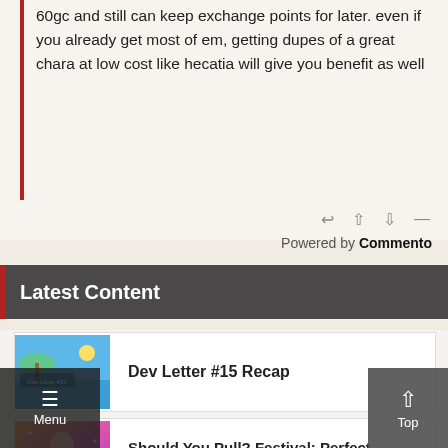60gc and still can keep exchange points for later. even if you already get most of em, getting dupes of a great chara at low cost like hecatia will give you benefit as well
Powered by Commento
Latest Content
Dev Letter #15 Recap
Should You Pull? Festival: Perfect Shikigami & Sleepy Sage